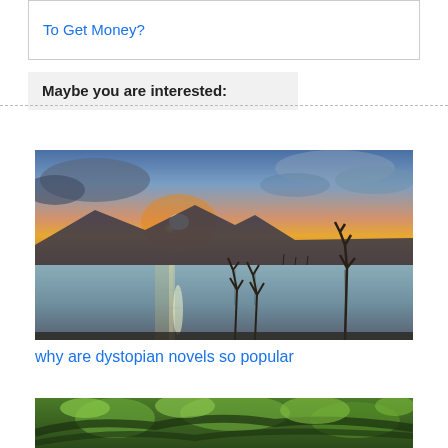To Get Money?
Maybe you are interested:
[Figure (photo): Sunset over a calm lake with dead trees rising from the water and dramatic cloudy sky]
why are dystopian novels so popular
[Figure (photo): Lush green tropical forest with branches and foliage]